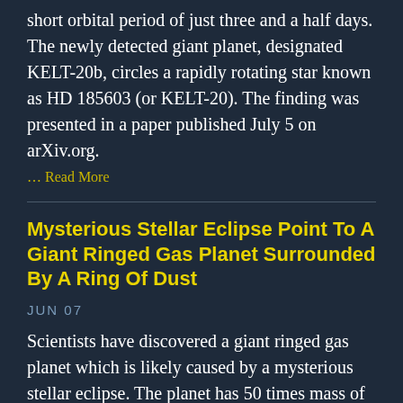short orbital period of just three and a half days. The newly detected giant planet, designated KELT-20b, circles a rapidly rotating star known as HD 185603 (or KELT-20). The finding was presented in a paper published July 5 on arXiv.org.
... Read More
Mysterious Stellar Eclipse Point To A Giant Ringed Gas Planet Surrounded By A Ring Of Dust
JUN 07
Scientists have discovered a giant ringed gas planet which is likely caused by a mysterious stellar eclipse. The planet has 50 times mass of Jupiter and it is surrounded by a